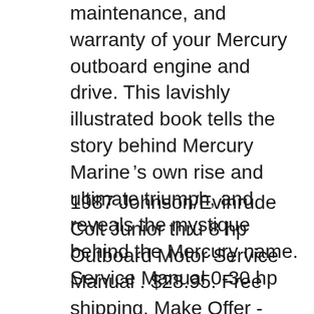maintenance, and warranty of your Mercury outboard engine and drive. This lavishly illustrated book tells the story behind Mercury Marine’s own rise and ultimate triumph, and reveals the mystique behind the Mercury name. Service Manual 0-30 hp
1987 Johnson/Evinrude Colt Junior thru 8 hp Outboard Motor Service Manual . $28.95. Free shipping. Make Offer - 1987 Johnson/Evinrude Colt Junior thru 8 hp Outboard Motor Service Manual . 1991 Johnson Evinrude Outboards 9.9 Thru 30 Service Repair Manual 507946 OEM *** $29.95 +$6.95 shipping. Mercury Outboard Parts Catalogs by Year, Serial or Model number. PPT is an